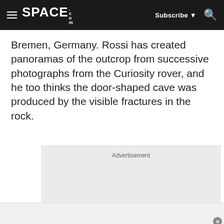SPACE.com — Subscribe — Search
Bremen, Germany. Rossi has created panoramas of the outcrop from successive photographs from the Curiosity rover, and he too thinks the door-shaped cave was produced by the visible fractures in the rock.
[Figure (other): Advertisement placeholder box with light gray background]